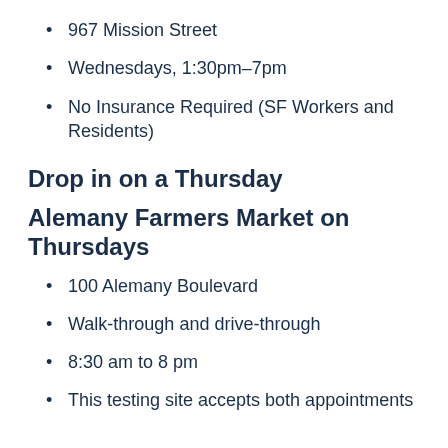967 Mission Street
Wednesdays, 1:30pm–7pm
No Insurance Required (SF Workers and Residents)
Drop in on a Thursday
Alemany Farmers Market on Thursdays
100 Alemany Boulevard
Walk-through and drive-through
8:30 am to 8 pm
This testing site accepts both appointments